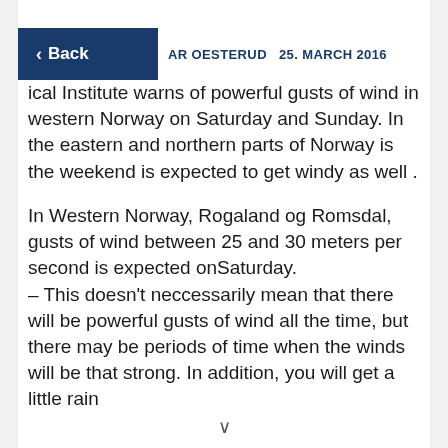AR OESTERUD   25. MARCH 2016
ical Institute warns of powerful gusts of wind in western Norway on Saturday and Sunday. In the eastern and northern parts of Norway is the weekend is expected to get windy as well .
In Western Norway, Rogaland og Romsdal, gusts of wind between 25 and 30 meters per second is expected onSaturday.
– This doesn't neccessarily mean that there will be powerful gusts of wind all the time, but there may be periods of time when the winds will be that strong. In addition, you will get a little rain